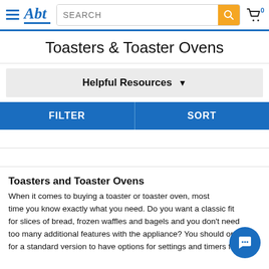Abt – SEARCH – Cart 0
Toasters & Toaster Ovens
Helpful Resources ▼
FILTER   SORT
Toasters and Toaster Ovens
When it comes to buying a toaster or toaster oven, most time you know exactly what you need. Do you want a classic fit for slices of bread, frozen waffles and bagels and you don't need too many additional features with the appliance? You should opt for a standard version to have options for settings and timers for